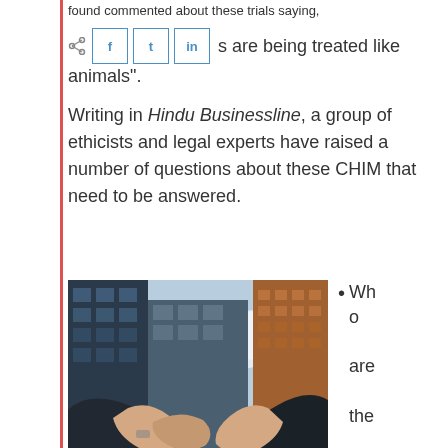...found commented about these trials saying,
"[people] are being treated like animals".
Writing in Hindu Businessline, a group of ethicists and legal experts have raised a number of questions about these CHIM that need to be answered.
[Figure (photo): Two people in suits shaking hands in front of tall glass skyscrapers, viewed from below against a sky background.]
Pharma Mergers & Acquisitions
Who are the industry coll